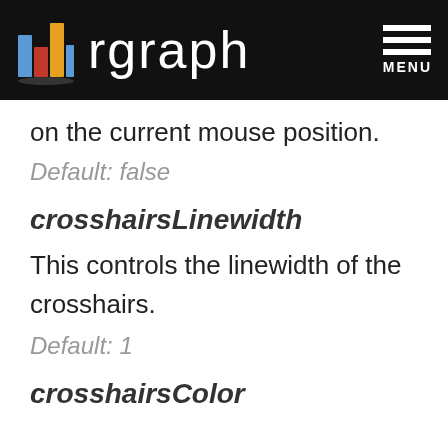rgraph MENU
on the current mouse position.
Default: false
crosshairsLinewidth
This controls the linewidth of the crosshairs.
Default: 1
crosshairsColor